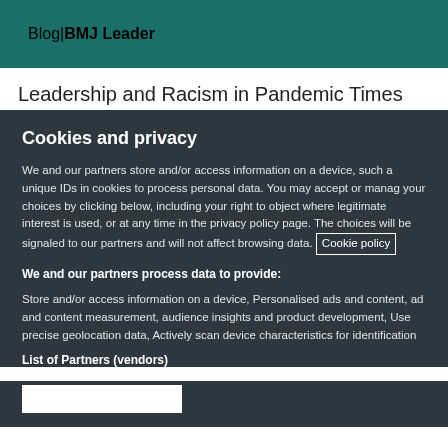Blog | BMJ Leader
Leadership and Racism in Pandemic Times
Cookies and privacy
We and our partners store and/or access information on a device, such as unique IDs in cookies to process personal data. You may accept or manage your choices by clicking below, including your right to object where legitimate interest is used, or at any time in the privacy policy page. These choices will be signaled to our partners and will not affect browsing data. Cookie policy
We and our partners process data to provide:
Store and/or access information on a device, Personalised ads and content, ad and content measurement, audience insights and product development, Use precise geolocation data, Actively scan device characteristics for identification
List of Partners (vendors)